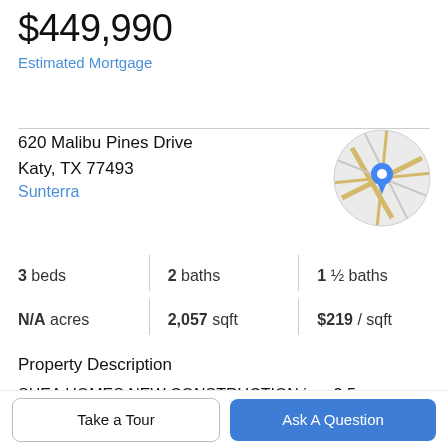$449,990
Estimated Mortgage
620 Malibu Pines Drive
Katy, TX 77493
Sunterra
[Figure (map): Circular map thumbnail showing street map with a blue location pin marker]
3 beds | 2 baths | 1 ½ baths
N/A acres | 2,057 sqft | $219 / sqft
Property Description
SHEA HOMES NEW CONSTRUCTION in a 3.5 acre Crystal Lagoon community. This gorgeous home is located in the gated section of the community, which is walking
Take a Tour
Ask A Question